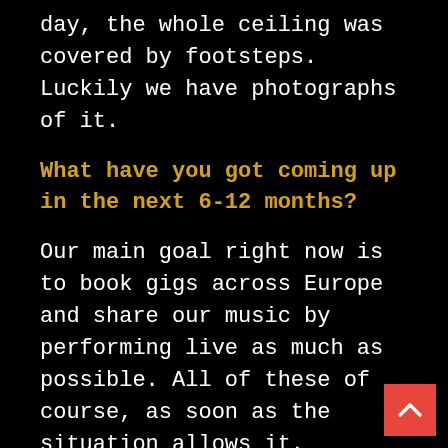day, the whole ceiling was covered by footsteps. Luckily we have photographs of it.
What have you got coming up in the next 6-12 months?
Our main goal right now is to book gigs across Europe and share our music by performing live as much as possible. All of these of course, as soon as the situation allows it.
If you were allowed to play a show at the Parthenon, talk us through how you'd set up the temple for the show, and do you think this would unleash the Titans?